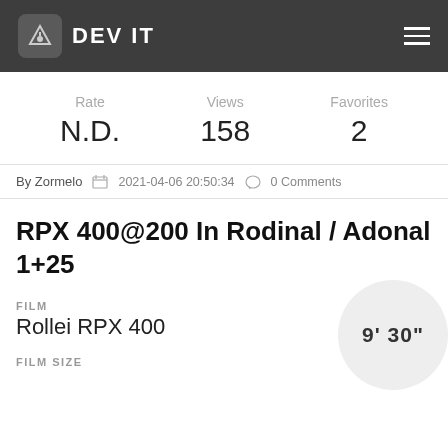DEV IT
Rate: N.D. | Views: 158 | Favorites: 2
By Zormelo  2021-04-06 20:50:34  0 Comments
RPX 400@200 In Rodinal / Adonal 1+25
FILM
Rollei RPX 400
FILM SIZE
9' 30"